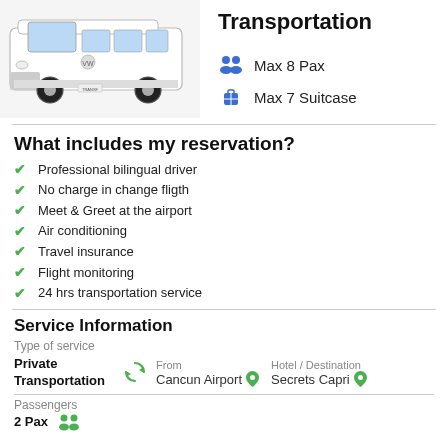[Figure (photo): White Volkswagen Transporter van photo]
Transportation
Max 8 Pax
Max 7 Suitcase
What includes my reservation?
Professional bilingual driver
No charge in change fligth
Meet & Greet at the airport
Air conditioning
Travel insurance
Flight monitoring
24 hrs transportation service
Service Information
Type of service
Private Transportation
From: Cancun Airport   Hotel / Destination: Secrets Capri
Passengers
2 Pax